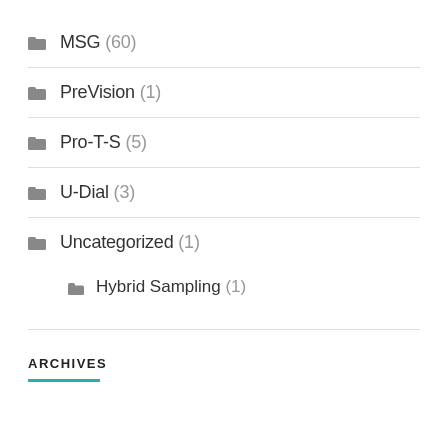MSG (60)
PreVision (1)
Pro-T-S (5)
U-Dial (3)
Uncategorized (1)
Hybrid Sampling (1)
ARCHIVES